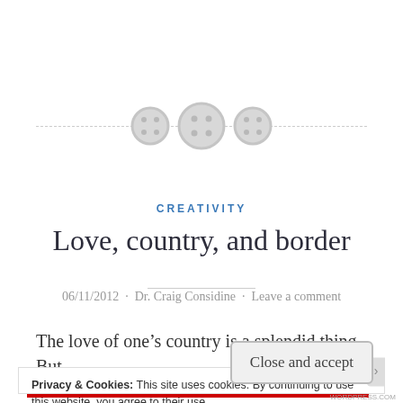[Figure (illustration): Three button icons arranged horizontally with a dashed horizontal rule behind them. Two smaller buttons flank a larger central button. Buttons are gray circular shapes with dot grids.]
CREATIVITY
Love, country, and border
06/11/2012 · Dr. Craig Considine · Leave a comment
The love of one's country is a splendid thing.  But
Privacy & Cookies: This site uses cookies. By continuing to use this website, you agree to their use.
To find out more, including how to control cookies, see here: Cookie Policy
Close and accept